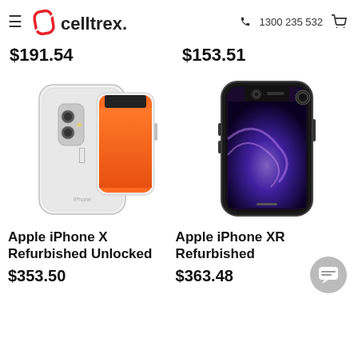celltrex. 1300 235 532
$191.54
$153.51
[Figure (photo): Apple iPhone X Refurbished Unlocked - white/silver smartphone shown from back and front angles]
[Figure (photo): Apple iPhone XR Refurbished - black smartphone shown from front]
Apple iPhone X Refurbished Unlocked
Apple iPhone XR Refurbished
$353.50
$363.48